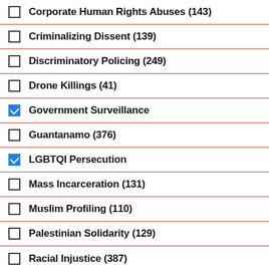Corporate Human Rights Abuses (143)
Criminalizing Dissent (139)
Discriminatory Policing (249)
Drone Killings (41)
Government Surveillance [checked]
Guantanamo (376)
LGBTQI Persecution [checked]
Mass Incarceration (131)
Muslim Profiling (110)
Palestinian Solidarity (129)
Racial Injustice (387)